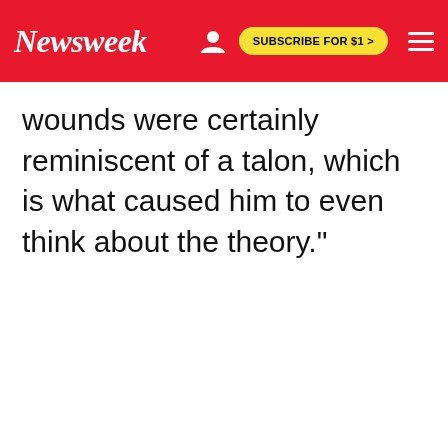Newsweek | SUBSCRIBE FOR $1 >
wounds were certainly reminiscent of a talon, which is what caused him to even think about the theory."